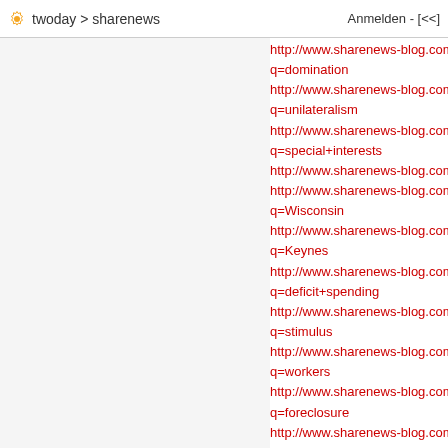twoday > sharenews   Anmelden - [<<]
http://www.sharenews-blog.com:8090/helma/twoday/sharenews/search?q=domination
http://www.sharenews-blog.com:8090/helma/twoday/sharenews/search?q=unilateralism
http://www.sharenews-blog.com:8090/helma/twoday/sharenews/search?q=special+interests
http://www.sharenews-blog.com:8090/helma/twoday/sharenews/search?q=Wisconsin
http://www.sharenews-blog.com:8090/helma/twoday/sharenews/search?q=Keynes
http://www.sharenews-blog.com:8090/helma/twoday/sharenews/search?q=deficit+spending
http://www.sharenews-blog.com:8090/helma/twoday/sharenews/search?q=stimulus
http://www.sharenews-blog.com:8090/helma/twoday/sharenews/search?q=workers
http://www.sharenews-blog.com:8090/helma/twoday/sharenews/search?q=foreclosure
http://www.sharenews-blog.com:8090/helma/twoday/sharenews/search?q=unemploy
http://www.sharenews-blog.com:8090/helma/twoday/sharenews/search?q=uprising
http://www.sharenews-blog.com:8090/helma/twoday/sharenews/search?q=Wall+Street
http://www.sharenews-blog.com:8090/helma/twoday/sharenews/search?